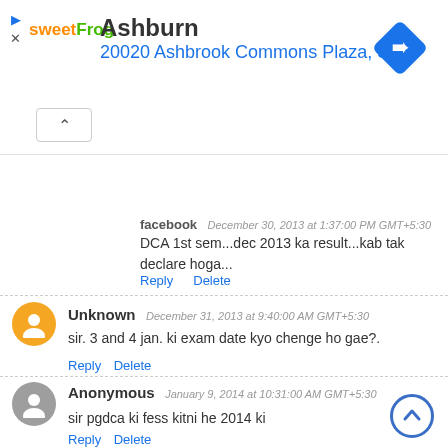[Figure (other): Advertisement banner for sweetFrog at 20020 Ashbrook Commons Plaza, Ste., Ashburn, with a blue navigation arrow diamond icon]
facebook   December 30, 2013 at 1:37:00 PM GMT+5:30
DCA 1st sem...dec 2013 ka result...kab tak declare hoga...
Reply   Delete
Unknown   December 31, 2013 at 9:40:00 AM GMT+5:30
sir. 3 and 4 jan. ki exam date kyo chenge ho gae?.
Reply   Delete
Anonymous   January 9, 2014 at 10:31:00 AM GMT+5:30
sir pgdca ki fess kitni he 2014 ki
Reply   Delete